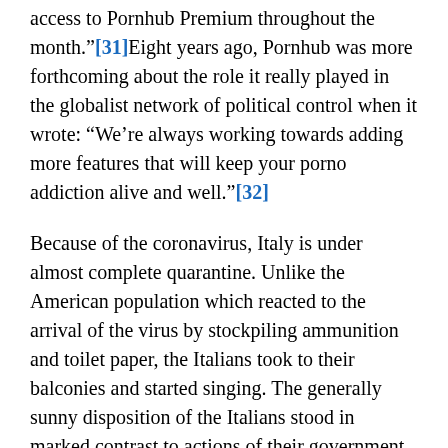access to Pornhub Premium throughout the month."[31]Eight years ago, Pornhub was more forthcoming about the role it really played in the globalist network of political control when it wrote: "We’re always working towards adding more features that will keep your porno addiction alive and well."[32]
Because of the coronavirus, Italy is under almost complete quarantine. Unlike the American population which reacted to the arrival of the virus by stockpiling ammunition and toilet paper, the Italians took to their balconies and started singing. The generally sunny disposition of the Italians stood in marked contrast to actions of their government which seemed determined to turn that country of 60 million people into a necropolis based on Edgar Allan Poe’s Masque of the Red Death. Online porn was booming[33] as people withdrew, via “social distancing” far “from the aid and from the sympathy of his fellow men” into the “deep seclusion” of their high-rise Vergnügungsmaschinen. As Poe put it in 1842...